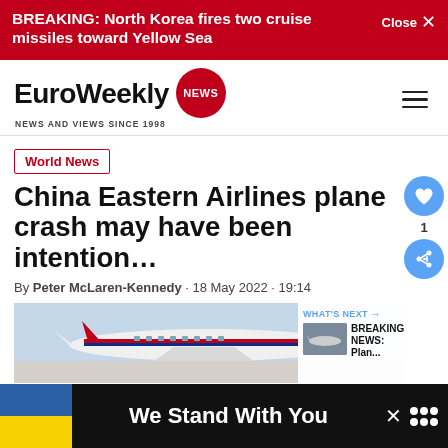BREAKING: North Korea fires two cruise missiles toward Yellow Sea  Close ✕
[Figure (logo): EuroWeekly NEWS logo with red circle badge and tagline NEWS AND VIEWS SINCE 1998]
World News
China Eastern Airlines plane crash may have been intention…
By Peter McLaren-Kennedy · 18 May 2022 · 19:14
[Figure (photo): China Eastern Airlines airplane on tarmac, light blue sky background. Overlay: WHAT'S NEXT → BREAKING NEWS: Plan...]
[Figure (infographic): Advertisement banner: Ukraine flag colors (blue and yellow), text 'We Stand With You', close button, logo dots]